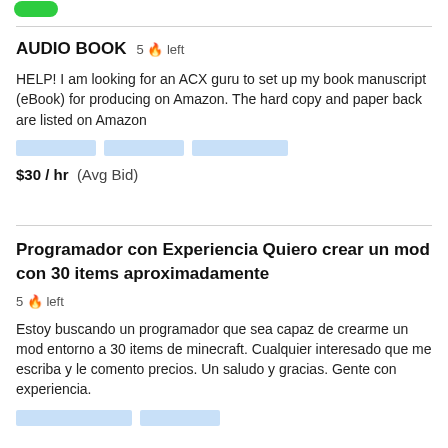[Figure (other): Green button/badge at top left]
AUDIO BOOK  5 🔥 left
HELP! I am looking for an ACX guru to set up my book manuscript (eBook) for producing on Amazon. The hard copy and paper back are listed on Amazon
[tag placeholders]
$30 / hr  (Avg Bid)
Programador con Experiencia Quiero crear un mod con 30 items aproximadamente  5 🔥 left
Estoy buscando un programador que sea capaz de crearme un mod entorno a 30 items de minecraft. Cualquier interesado que me escriba y le comento precios. Un saludo y gracias. Gente con experiencia.
[tag placeholders]